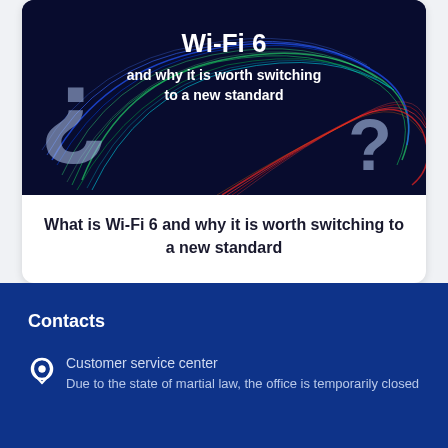[Figure (illustration): Dark blue background with colorful swirl/fiber-optic light trails (green, blue, red) forming a circular vortex pattern. Large question mark on the left side and right side overlay. Text overlay reads: ¿ Wi-Fi 6 and why it is worth switching to a new standard]
What is Wi-Fi 6 and why it is worth switching to a new standard
Contacts
Customer service center
Due to the state of martial law, the office is temporarily closed